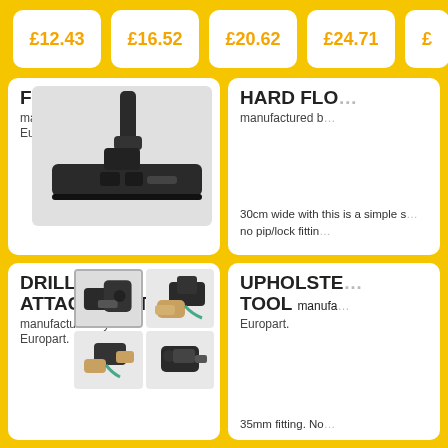£12.43  £16.52  £20.62  £24.71  £…
FLOOR TOOL
manufactured by Europart.
[Figure (photo): Floor tool vacuum attachment - wide flat head with dual pedal, 35mm slide-on fitting]
Dual pedal for both carpets and hard floors. 35mm. Note: this is a simple slide-on attachment. There is no pip/lock fitting.
£13.81
In stock
incl. 1st class post (£6.95) and VAT (£2.30)
Add to shopping basket
HARD FLO…
manufactured b…
30cm wide with this is a simple s… no pip/lock fittin…
£17.81
incl. 1st class po…
DRILL ATTACHMENT
manufactured by Europart.
[Figure (photo): Drill attachment vacuum accessory shown in 4 photos: product alone, and hands demonstrating use with drill]
Vacuum up drilling…
UPHOLSTERY TOOL
manufactured by Europart.
35mm fitting. No…